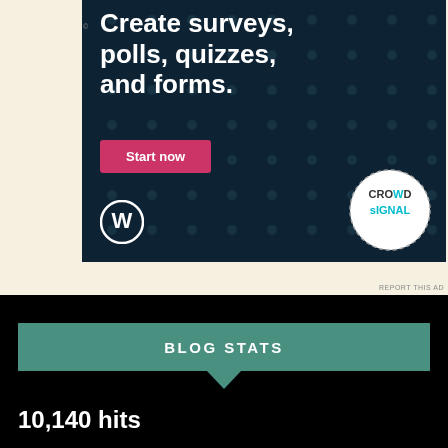[Figure (screenshot): Advertisement banner for Crowdsignal on dark navy background with text 'Create surveys, polls, quizzes, and forms.' and a pink 'Start now' button, WordPress logo, and Crowdsignal badge]
REPORT THIS AD
BLOG STATS
10,140 hits